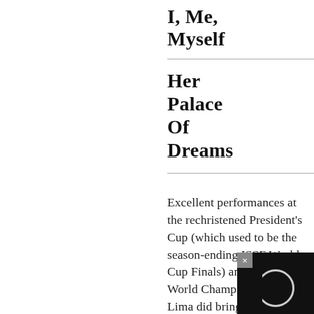I, Me, Myself
Her Palace Of Dreams
Excellent performances at the rechristened President's Cup (which used to be the season-ending ISSF World Cup Finals) and the Junior World Championships in Lima did bring some smiles back, but the In horror run at T